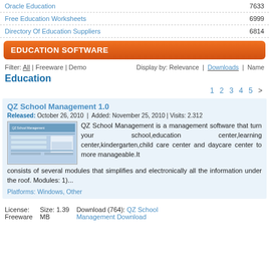Oracle Education 7633
Free Education Worksheets 6999
Directory Of Education Suppliers 6814
EDUCATION SOFTWARE
Filter: All | Freeware | Demo
Display by: Relevance | Downloads | Name
Education
1 2 3 4 5 >
QZ School Management 1.0
Released: October 26, 2010 | Added: November 25, 2010 | Visits: 2.312
[Figure (screenshot): Screenshot of QZ School Management software interface]
QZ School Management is a management software that turn your school,education center,learning center,kindergarten,child care center and daycare center to more manageable.It consists of several modules that simplifies and electronically all the information under the roof. Modules: 1)...
Platforms: Windows, Other
License: Freeware   Size: 1.39 MB   Download (764): QZ School Management Download